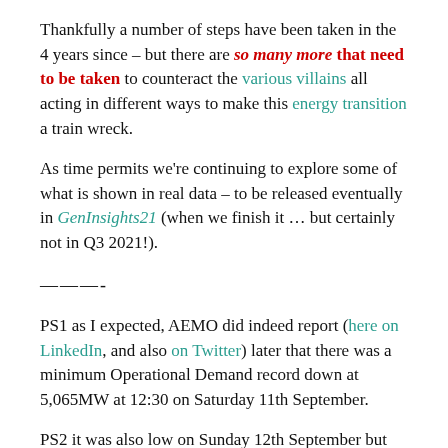Thankfully a number of steps have been taken in the 4 years since – but there are so many more that need to be taken to counteract the various villains all acting in different ways to make this energy transition a train wreck.
As time permits we're continuing to explore some of what is shown in real data – to be released eventually in GenInsights21 (when we finish it … but certainly not in Q3 2021!).
———-
PS1 as I expected, AEMO did indeed report (here on LinkedIn, and also on Twitter) later that there was a minimum Operational Demand record down at 5,065MW at 12:30 on Saturday 11th September.
PS2 it was also low on Sunday 12th September but (using Operational Demand as the measure) not so